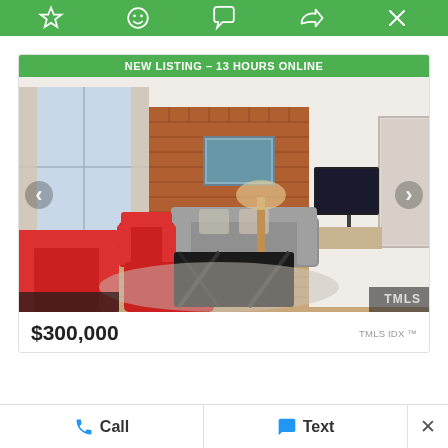[Figure (screenshot): Green app toolbar with icons: star/favorite, smiley, chat, share, and X/close]
[Figure (photo): Real estate listing photo of a living room with red chairs, grey sofa, brick accent wall, large windows, and modern decor. Green banner reads NEW LISTING - 13 HOURS ONLINE. TMLS watermark in bottom right.]
$300,000
TMLS IDX ™
Call
Text